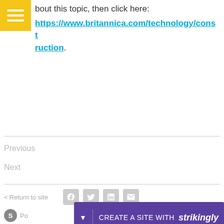bout this topic, then click here: https://www.britannica.com/technology/construction.
Previous
Next
< Return to site
Powered by Strikingly
CREATE A SITE WITH strikingly